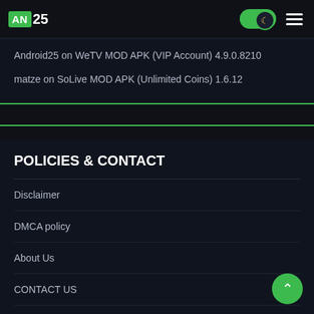AN25 (logo) | dark mode toggle | hamburger menu
Android25 on WeTV MOD APK (VIP Account) 4.9.0.8210
matze on SoLive MOD APK (Unlimited Coins) 1.6.12
POLICIES & CONTACT
Disclaimer
DMCA policy
About Us
CONTACT US
Privacy Policy